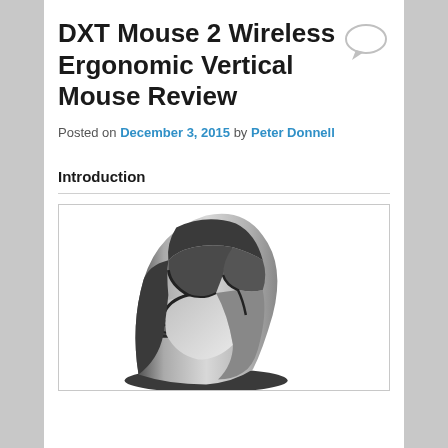DXT Mouse 2 Wireless Ergonomic Vertical Mouse Review
Posted on December 3, 2015 by Peter Donnell
Introduction
[Figure (photo): Photo of a DXT Mouse 2 Wireless Ergonomic Vertical Mouse, showing a silver and dark grey vertical ergonomic mouse with scroll wheel, photographed from a front-side angle against a white background.]